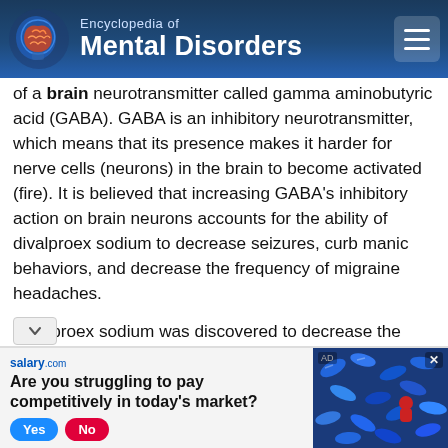Encyclopedia of Mental Disorders
of a brain neurotransmitter called gamma aminobutyric acid (GABA). GABA is an inhibitory neurotransmitter, which means that its presence makes it harder for nerve cells (neurons) in the brain to become activated (fire). It is believed that increasing GABA’s inhibitory action on brain neurons accounts for the ability of divalproex sodium to decrease seizures, curb manic behaviors, and decrease the frequency of migraine headaches.
Divalproex sodium was discovered to decrease the likelihood of seizure in 1963. In 1978, the United States Food and Drug Administration approved it for this use. Other uses for divalproex sodium were researched and approved subsequently, including use against mania (1995) and use to decrease migraine headache frequency. Divalproex sodium’s
[Figure (infographic): Advertisement banner for salary.com asking 'Are you struggling to pay competitively in today's market?' with Yes/No buttons and a background image of colorful pills/capsules.]